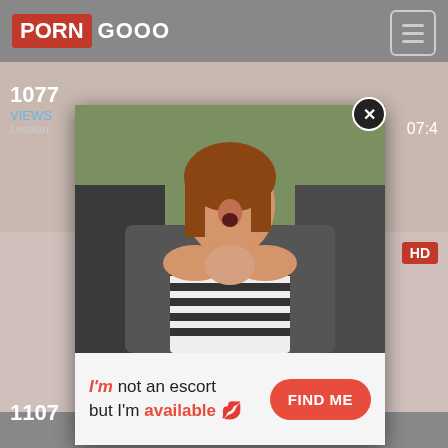PORN GOOO
[Figure (screenshot): Website screenshot of PORN GOOO adult video site with popup ad overlay showing a woman in a car with Live Girls label and an escort ad banner reading I'm not an escort but I'm available - FIND ME]
1077 VIEWS
Lesbian
07:4
HD
LIVE GIRLS
I'm not an escort but I'm available 💋 FIND ME
1107